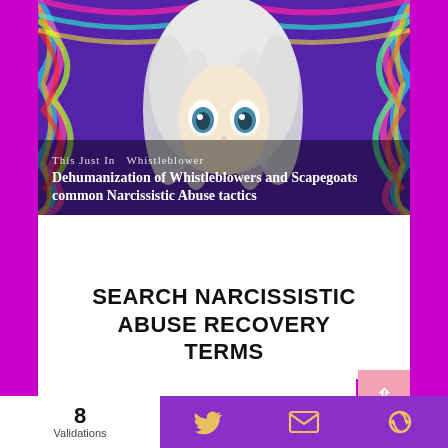[Figure (illustration): Colorful psychedelic illustration of a girl with white hair and large blue eyes against a swirling rainbow background. Overlaid text reads category label 'This Just In  Whistleblower' and headline 'Dehumanization of Whistleblowers and Scapegoats common Narcissistic Abuse tactics']
SEARCH NARCISSISTIC ABUSE RECOVERY TERMS
8 Validations